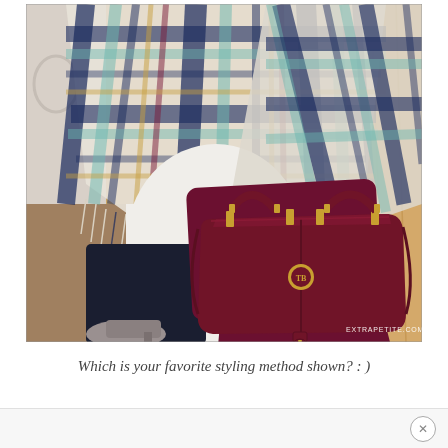[Figure (photo): A woman wearing a plaid blanket scarf over a white sweater with dark navy pants and grey heels, holding a dark red/burgundy Tory Burch leather handbag with gold hardware. The background shows a wooden floor. A watermark reads EXTRAPETITE.COM in the bottom right corner.]
Which is your favorite styling method shown? : )